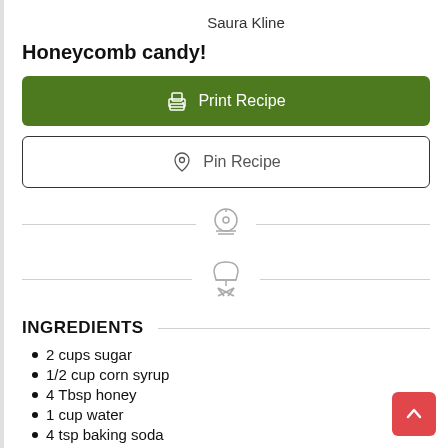Saura Kline
Honeycomb candy!
[Figure (other): Green button labeled Print Recipe with printer icon]
[Figure (other): White outlined button labeled Pin Recipe with Pinterest icon]
[Figure (other): Timer/clock icon centered between horizontal lines]
[Figure (other): Chef hat with crossed utensils icon centered between horizontal lines]
INGREDIENTS
2 cups sugar
1/2 cup corn syrup
4 Tbsp honey
1 cup water
4 tsp baking soda